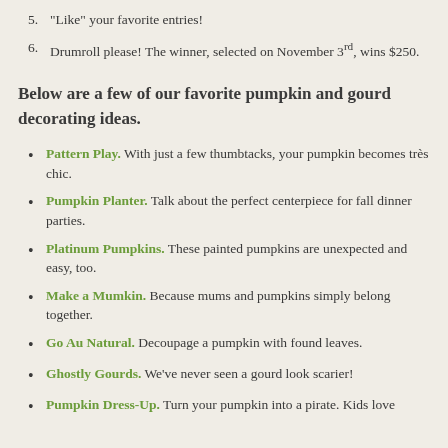5. “Like” your favorite entries!
6. Drumroll please! The winner, selected on November 3rd, wins $250.
Below are a few of our favorite pumpkin and gourd decorating ideas.
Pattern Play. With just a few thumbtacks, your pumpkin becomes très chic.
Pumpkin Planter. Talk about the perfect centerpiece for fall dinner parties.
Platinum Pumpkins. These painted pumpkins are unexpected and easy, too.
Make a Mumkin. Because mums and pumpkins simply belong together.
Go Au Natural. Decoupage a pumpkin with found leaves.
Ghostly Gourds. We’ve never seen a gourd look scarier!
Pumpkin Dress-Up. Turn your pumpkin into a pirate. Kids love